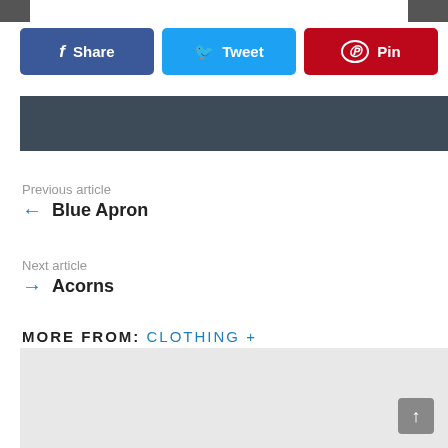[Figure (screenshot): Social share buttons: Facebook Share (blue), Twitter Tweet (light blue), Pinterest Pin (red)]
[Figure (screenshot): Dark navigation bar element]
Previous article
← Blue Apron
Next article
→ Acorns
MORE FROM: CLOTHING + ACCESSORIES 🏳️‍🌈👗🧢